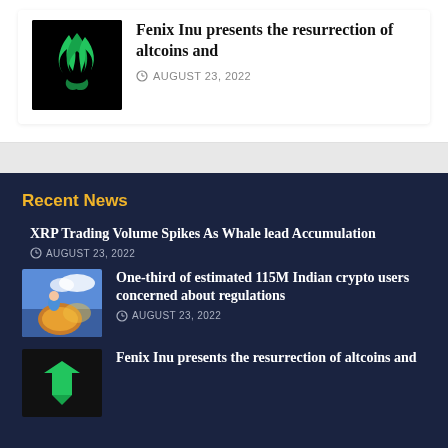[Figure (illustration): Black background with green flame/fire logo icon]
Fenix Inu presents the resurrection of altcoins and
AUGUST 23, 2022
Recent News
XRP Trading Volume Spikes As Whale lead Accumulation
AUGUST 23, 2022
[Figure (illustration): Colorful illustration of person riding a coin or creature with crypto elements]
One-third of estimated 115M Indian crypto users concerned about regulations
AUGUST 23, 2022
[Figure (logo): Dark background with green arrow/logo icon]
Fenix Inu presents the resurrection of altcoins and